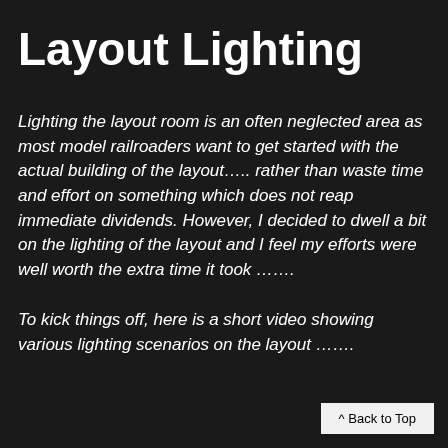Layout Lighting
Lighting the layout room is an often neglected area as most model railroaders want to get started with the actual building of the layout….. rather than waste time and effort on something which does not reap immediate dividends. However, I decided to dwell a bit on the lighting of the layout and I feel my efforts were well worth the extra time it took …….
To kick things off, here is a short video showing various lighting scenarios on the layout …….
^ Back to Top